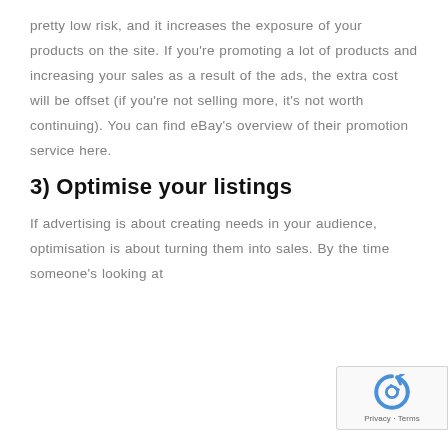pretty low risk, and it increases the exposure of your products on the site. If you're promoting a lot of products and increasing your sales as a result of the ads, the extra cost will be offset (if you're not selling more, it's not worth continuing). You can find eBay's overview of their promotion service here.
3) Optimise your listings
If advertising is about creating needs in your audience, optimisation is about turning them into sales. By the time someone's looking at